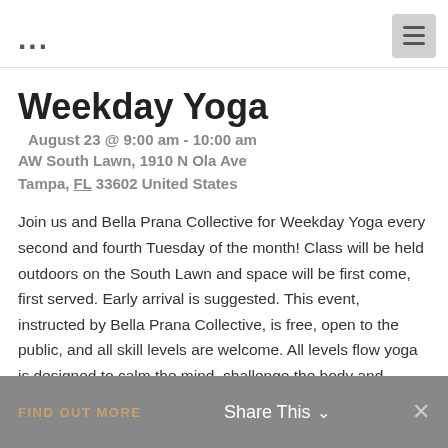Free
Weekday Yoga
August 23 @ 9:00 am - 10:00 am
AW South Lawn, 1910 N Ola Ave
Tampa, FL 33602 United States
Join us and Bella Prana Collective for Weekday Yoga every second and fourth Tuesday of the month! Class will be held outdoors on the South Lawn and space will be first come, first served. Early arrival is suggested. This event, instructed by Bella Prana Collective, is free, open to the public, and all skill levels are welcome. All levels flow yoga is designed to calm the mind, challenge the body and support the nervous system. Practice yoga with your community…
FIND OUT MORE    Share This    ✕